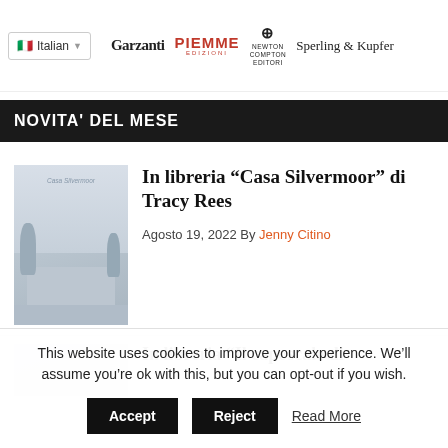Italian | Garzanti | PIEMME EDIZIONI | NEWTON COMPTON EDITORI | Sperling & Kupfer
NOVITA' DEL MESE
[Figure (photo): Thumbnail image of Casa Silvermoor book cover showing a mansion with trees]
In libreria “Casa Silvermoor” di Tracy Rees
Agosto 19, 2022 By Jenny Citino
[Figure (photo): Partial thumbnail of second article book cover]
In libreria “Il caposcale di
This website uses cookies to improve your experience. We’ll assume you’re ok with this, but you can opt-out if you wish.
Accept | Reject | Read More